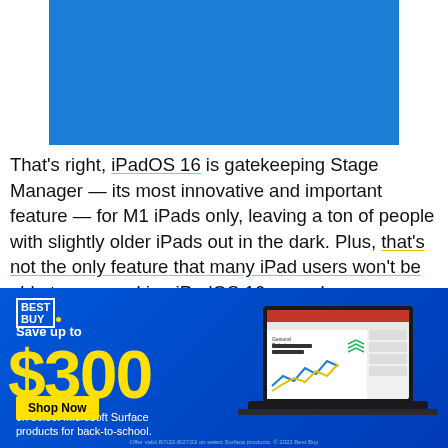[Figure (photo): Blue rectangle image at top center (partial product/banner image in blue)]
That's right, iPadOS 16 is gatekeeping Stage Manager — its most innovative and important feature — for M1 iPads only, leaving a ton of people with slightly older iPads out in the dark. Plus, that's not the only feature that many iPad users won't be able to use, making iPadOS 16 a much more complicated story. In fact, I think iPadOS 16 has the potential to ruin the
[Figure (infographic): Best Buy advertisement banner. Blue background. Best Buy logo top left. Text: Save up to $300 on select Microsoft Surface products for back-to-school. Yellow Shop Now button. Image of a laptop on the right side showing a PowerPoint presentation with Gestural Robotics slide.]